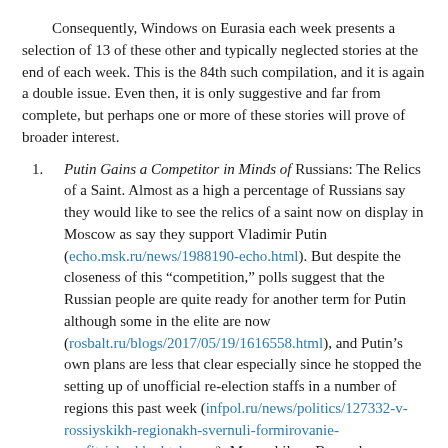Consequently, Windows on Eurasia each week presents a selection of 13 of these other and typically neglected stories at the end of each week. This is the 84th such compilation, and it is again a double issue. Even then, it is only suggestive and far from complete, but perhaps one or more of these stories will prove of broader interest.
Putin Gains a Competitor in Minds of Russians: The Relics of a Saint. Almost as a high a percentage of Russians say they would like to see the relics of a saint now on display in Moscow as say they support Vladimir Putin (echo.msk.ru/news/1988190-echo.html). But despite the closeness of this “competition,” polls suggest that the Russian people are quite ready for another term for Putin although some in the elite are now (rosbalt.ru/blogs/2017/05/19/1616558.html), and Putin’s own plans are less that clear especially since he stopped the setting up of unofficial re-election staffs in a number of regions this past week (infpol.ru/news/politics/127332-v-rossiyskikh-regionakh-svernuli-formirovanie-neofitsialnykh-shtabov-a/). Meanwhile, a Barnaul